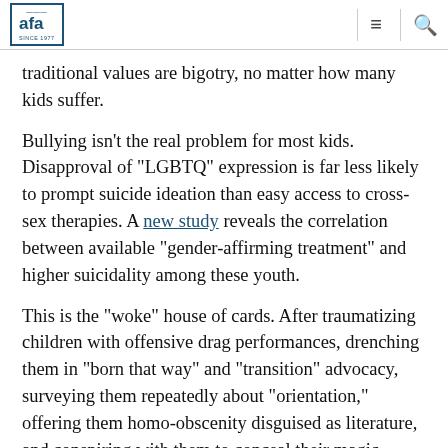AFA logo, hamburger menu icon, search icon
traditional values are bigotry, no matter how many kids suffer.
Bullying isn’t the real problem for most kids. Disapproval of “LGBTQ” expression is far less likely to prompt suicide ideation than easy access to cross-sex therapies. A new study reveals the correlation between available “gender-affirming treatment” and higher suicidality among these youth.
This is the “woke” house of cards. After traumatizing children with offensive drag performances, drenching them in “born that way” and “transition” advocacy, surveying them repeatedly about “orientation,” offering them homo-obscenity disguised as literature, and conspiring with them to conceal their magic notion